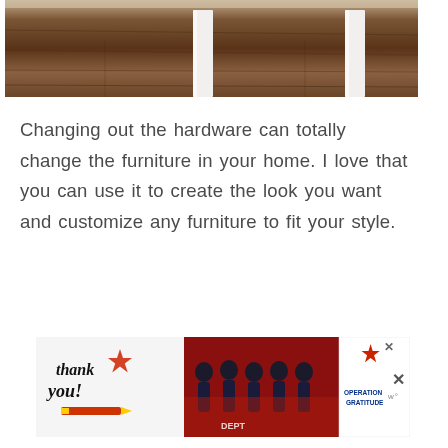[Figure (photo): Bottom portion of a room showing dark wood floor with white furniture legs visible]
Changing out the hardware can totally change the furniture in your home. I love that you can use it to create the look you want and customize any furniture to fit your style.
[Figure (photo): Advertisement banner: Thank you note with Operation Gratitude ad featuring firefighters; dismiss buttons on right]